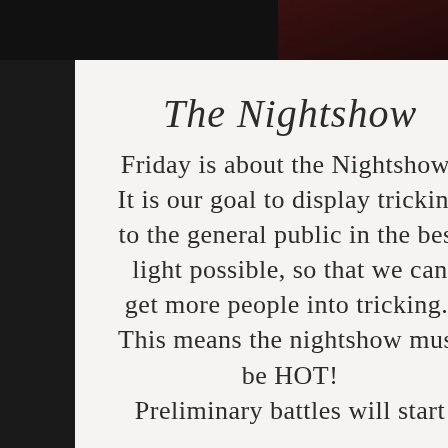[Figure (photo): Dark background showing a crowd/performance scene with red and blue lighting, partially visible on the right side of the page behind a white card overlay.]
The Nightshow
Friday is about the Nightshow! It is our goal to display tricking to the general public in the best light possible, so that we can get more people into tricking.  This means the nightshow must be HOT! Preliminary battles will start